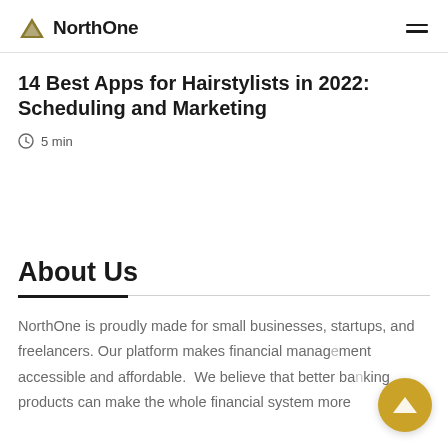NorthOne
14 Best Apps for Hairstylists in 2022: Scheduling and Marketing
5 min
About Us
NorthOne is proudly made for small businesses, startups, and freelancers. Our platform makes financial management accessible and affordable. We believe that better banking products can make the whole financial system more